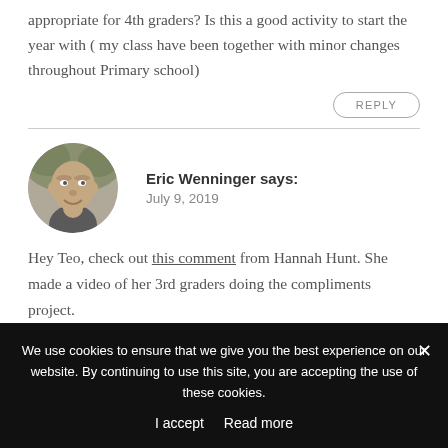appropriate for 4th graders? Is this a good activity to start the year with ( my class have been together with minor changes throughout Primary school)
REPLY
[Figure (photo): Circular black and white headshot photo of Eric Wenninger, a bald smiling man in a collared shirt]
Eric Wenninger says:
July 9, 2019
Hey Teo, check out this comment from Hannah Hunt. She made a video of her 3rd graders doing the compliments project.
We use cookies to ensure that we give you the best experience on our website. By continuing to use this site, you are accepting the use of these cookies.
I accept  Read more